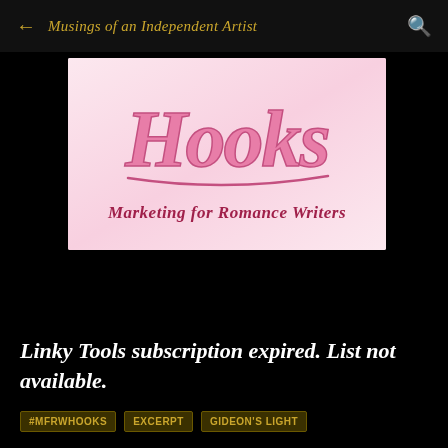← Musings of an Independent Artist 🔍
[Figure (logo): Hooks – Marketing for Romance Writers logo. Pink script text 'Hooks' on a pink-to-white gradient background with italic serif text 'Marketing for Romance Writers' below.]
Linky Tools subscription expired. List not available.
#MFRWHOOKS
EXCERPT
GIDEON'S LIGHT